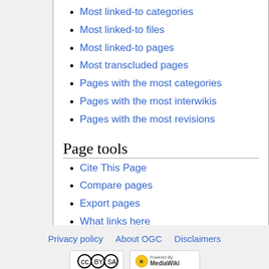Most linked-to categories
Most linked-to files
Most linked-to pages
Most transcluded pages
Pages with the most categories
Pages with the most interwikis
Pages with the most revisions
Page tools
Cite This Page
Compare pages
Export pages
What links here
Privacy policy   About OGC   Disclaimers